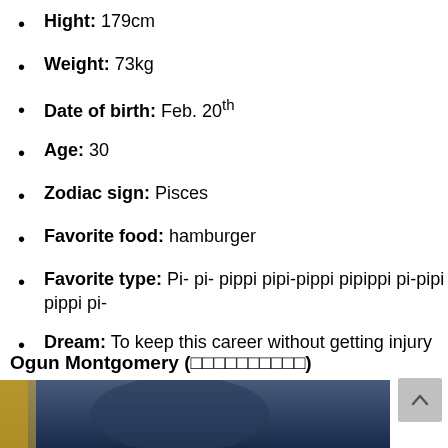Hight: 179cm
Weight: 73kg
Date of birth: Feb. 20th
Age: 30
Zodiac sign: Pisces
Favorite food: hamburger
Favorite type: Pi- pi- pippi pipi-pippi pipippi pi-pipi pippi pi-
Dream: To keep this career without getting injury
Ogun Montgomery (□□□□□□□□□□)
[Figure (photo): Partial photo of a person at the bottom of the page with dark background and yellow/orange accent on left edge]